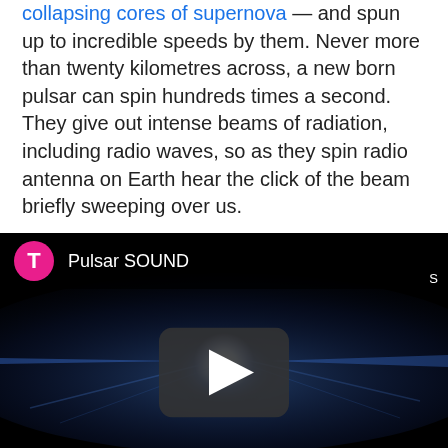collapsing cores of supernova — and spun up to incredible speeds by them. Never more than twenty kilometres across, a new born pulsar can spin hundreds times a second. They give out intense beams of radiation, including radio waves, so as they spin radio antenna on Earth hear the click of the beam briefly sweeping over us.
There are old, slow ones that drum like a runners footsteps...
[Figure (screenshot): YouTube video embed showing 'Pulsar SOUND' with a pink circle avatar with letter T, white title text, and a play button overlay on a black background with a glowing blue-white pulsar image.]